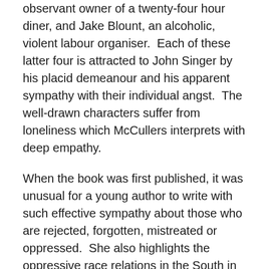observant owner of a twenty-four hour diner, and Jake Blount, an alcoholic, violent labour organiser.  Each of these latter four is attracted to John Singer by his placid demeanour and his apparent sympathy with their individual angst.  The well-drawn characters suffer from loneliness which McCullers interprets with deep empathy.
When the book was first published, it was unusual for a young author to write with such effective sympathy about those who are rejected, forgotten, mistreated or oppressed.  She also highlights the oppressive race relations in the South in the 1930's.
For me, however, the book moves at too slow a pace, and while this largely matches the pace of the setting, I found myself losing interest now and then.  The characters, the setting and the emotions are very real; the writing is